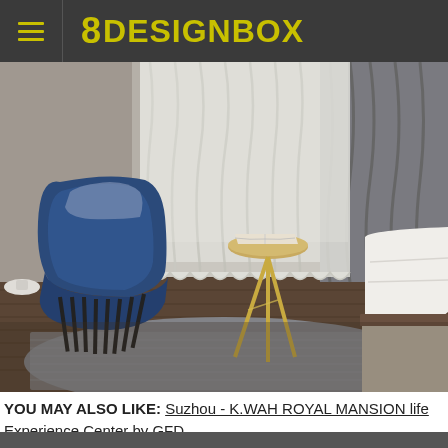8 DESIGNBOX
[Figure (photo): Interior hotel room photo showing a blue leather armchair with dark metal slatted base, a gold tripod side table with an open book on top, light grey/white flowing curtains in the background, dark hardwood floors, a grey area rug, and the edge of a bed with white bedding on the right side.]
YOU MAY ALSO LIKE: Suzhou - K.WAH ROYAL MANSION life Experience Center by GFD